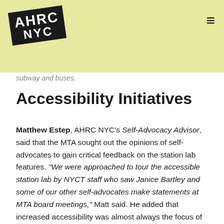AHRC NYC
subway and buses.
Accessibility Initiatives
Matthew Estep, AHRC NYC's Self-Advocacy Advisor, said that the MTA sought out the opinions of self-advocates to gain critical feedback on the station lab features. "We were approached to tour the accessible station lab by NYCT staff who saw Janice Bartley and some of our other self-advocates make statements at MTA board meetings," Matt said. He added that increased accessibility was almost always the focus of self-advocates' messages at these board meetings.